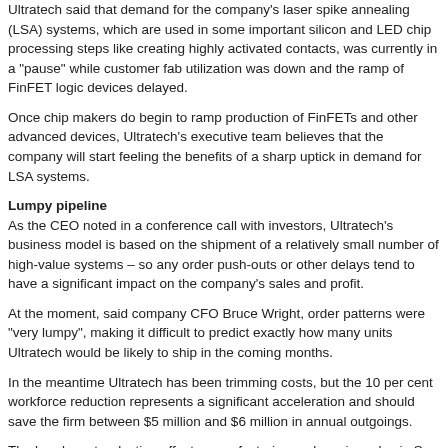Ultratech said that demand for the company's laser spike annealing (LSA) systems, which are used in some important silicon and LED chip processing steps like creating highly activated contacts, was currently in a "pause" while customer fab utilization was down and the ramp of FinFET logic devices delayed.
Once chip makers do begin to ramp production of FinFETs and other advanced devices, Ultratech's executive team believes that the company will start feeling the benefits of a sharp uptick in demand for LSA systems.
Lumpy pipeline
As the CEO noted in a conference call with investors, Ultratech's business model is based on the shipment of a relatively small number of high-value systems – so any order push-outs or other delays tend to have a significant impact on the company's sales and profit.
At the moment, said company CFO Bruce Wright, order patterns were "very lumpy", making it difficult to predict exactly how many units Ultratech would be likely to ship in the coming months.
In the meantime Ultratech has been trimming costs, but the 10 per cent workforce reduction represents a significant acceleration and should save the firm between $5 million and $6 million in annual outgoings.
The headcount reduction affects manufacturing and service roles in San Jose primarily, with Ultratech stressing that it wanted to minimize any impact on its research and development efforts.
Asked about the potential impact of the planned Lam Research/KLA-Tencor merger on the semiconductor equipment industry, Ultratech's